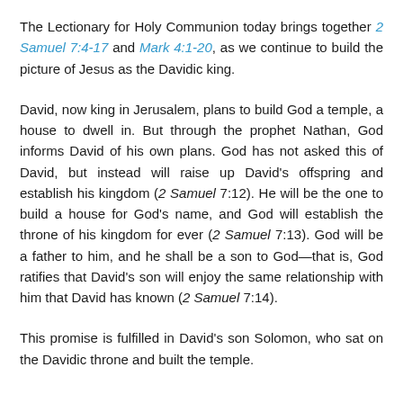The Lectionary for Holy Communion today brings together 2 Samuel 7:4-17 and Mark 4:1-20, as we continue to build the picture of Jesus as the Davidic king.
David, now king in Jerusalem, plans to build God a temple, a house to dwell in. But through the prophet Nathan, God informs David of his own plans. God has not asked this of David, but instead will raise up David's offspring and establish his kingdom (2 Samuel 7:12). He will be the one to build a house for God's name, and God will establish the throne of his kingdom for ever (2 Samuel 7:13). God will be a father to him, and he shall be a son to God—that is, God ratifies that David's son will enjoy the same relationship with him that David has known (2 Samuel 7:14).
This promise is fulfilled in David's son Solomon, who sat on the Davidic throne and built the temple.